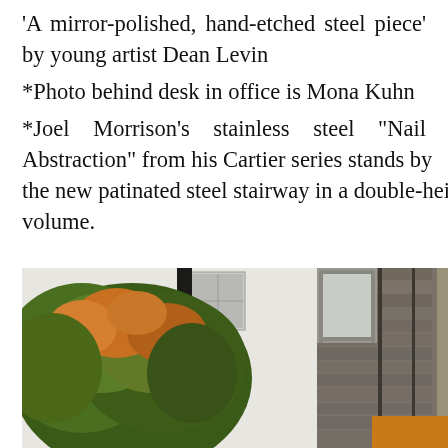'A mirror-polished, hand-etched steel piece' by young artist Dean Levin
*Photo behind desk in office is Mona Kuhn
*Joel Morrison's stainless steel "Nail Abstraction" from his Cartier series stands by the new patinated steel stairway in a double-height volume.
[Figure (photo): Exterior architectural photograph showing a tree with green and reddish-orange autumn foliage on the left, and a stone or textured brick building facade with a window detail on the right.]